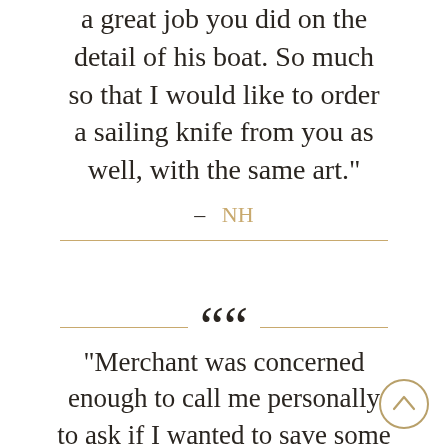a great job you did on the detail of his boat. So much so that I would like to order a sailing knife from you as well, with the same art."
– NH
"Merchant was concerned enough to call me personally to ask if I wanted to save some money on an option I chose. Very nice individual.